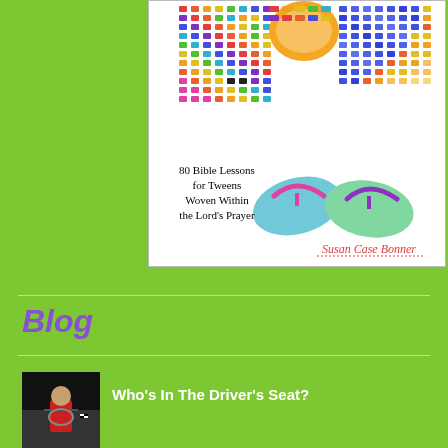[Figure (illustration): Book cover showing colorful patterned robes/fabric with flip-flop sandals. Title reads '80 Bible Lessons for Tweens Woven Within the Lord's Prayer' by Susan Case Bonner.]
Blog
[Figure (photo): Small thumbnail image of a child in a racing car scene]
Who's In The Driver's Seat?